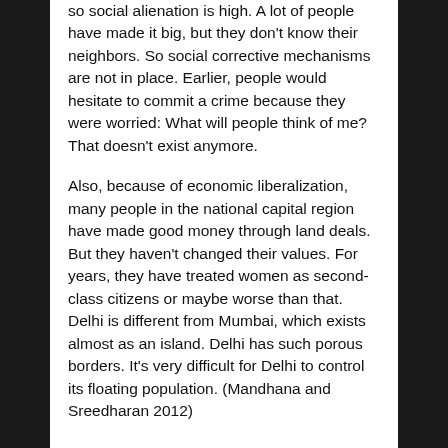so social alienation is high. A lot of people have made it big, but they don't know their neighbors. So social corrective mechanisms are not in place. Earlier, people would hesitate to commit a crime because they were worried: What will people think of me? That doesn't exist anymore.
Also, because of economic liberalization, many people in the national capital region have made good money through land deals. But they haven't changed their values. For years, they have treated women as second-class citizens or maybe worse than that. Delhi is different from Mumbai, which exists almost as an island. Delhi has such porous borders. It's very difficult for Delhi to control its floating population. (Mandhana and Sreedharan 2012)